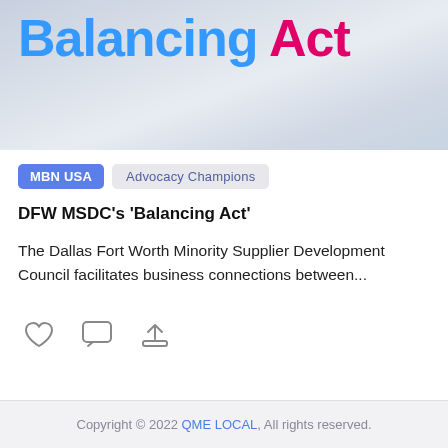[Figure (screenshot): Partial hero image showing 'Balancing Act' text logo in blue and pink on a gray gradient background]
MBN USA   Advocacy Champions
DFW MSDC's 'Balancing Act'
The Dallas Fort Worth Minority Supplier Development Council facilitates business connections between...
[Figure (illustration): Row of icons: heart (like), speech bubble (comment), share/upload arrow]
Copyright © 2022 QME LOCAL, All rights reserved.